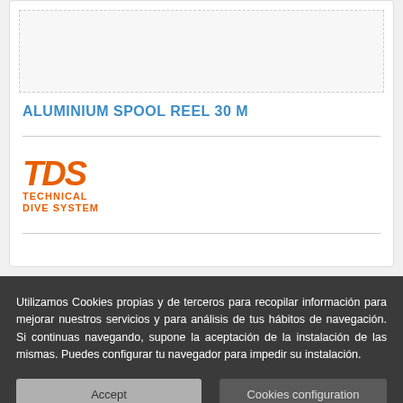[Figure (other): Product image placeholder area (empty/light grey box)]
ALUMINIUM SPOOL REEL 30 M
[Figure (logo): TDS Technical Dive System logo in orange]
Utilizamos Cookies propias y de terceros para recopilar información para mejorar nuestros servicios y para análisis de tus hábitos de navegación. Si continuas navegando, supone la aceptación de la instalación de las mismas. Puedes configurar tu navegador para impedir su instalación.
Accept
Cookies configuration